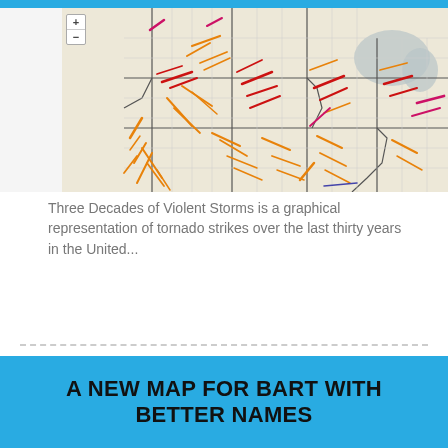[Figure (map): A map showing tornado strike paths over the central/eastern United States. Colored lines (orange, red, magenta) represent tornado tracks across states including Iowa, Illinois, Indiana, Ohio, and surrounding states. The map has a beige/tan background with state boundary lines in black. Navigation plus/minus zoom controls are visible in the upper left.]
Three Decades of Violent Storms is a graphical representation of tornado strikes over the last thirty years in the United...
A NEW MAP FOR BART WITH BETTER NAMES
[Figure (map): A partial view of a BART (Bay Area Rapid Transit) transit map showing colored rail lines converging near downtown Oakland. Station names visible include West Oakland/Part of Oakland, 12th St/Oakland City Center of the East Bay, Lake Merritt/Chinatown/Laney, Fruitvale/Alameda Island Cont, MacArthur/40th St 'The Macarena', Rockridge/Elmwood, Dietz/Monaco, 19th St/Uptown Oakland, and others.]